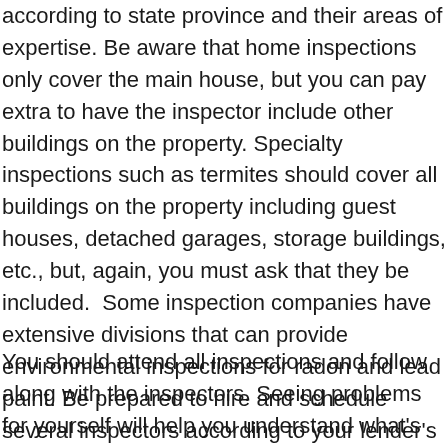according to state province and their areas of expertise. Be aware that home inspections only cover the main house, but you can pay extra to have the inspector include other buildings on the property. Specialty inspections such as termites should cover all buildings on the property including guest houses, detached garages, storage buildings, etc., but, again, you must ask that they be included.  Some inspection companies have extensive divisions that can provide environmental inspections for radon and lead paint. Be prepared to hire and schedule several inspectors according to your lender's requirements and to pay several hundred dollars for each type of inspection.
You should attend all inspections and follow along with the inspectors. Seeing problems for yourself will help you understand what's serious, what needs replacement